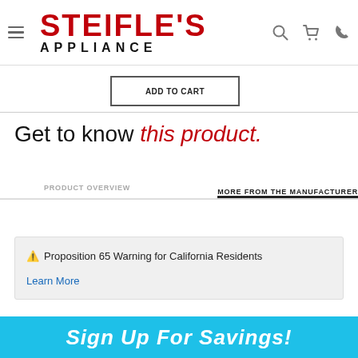STEIFLE'S APPLIANCE
Get to know this product.
PRODUCT OVERVIEW    MORE FROM THE MANUFACTURER
⚠ Proposition 65 Warning for California Residents
Learn More
Sign Up For Savings!